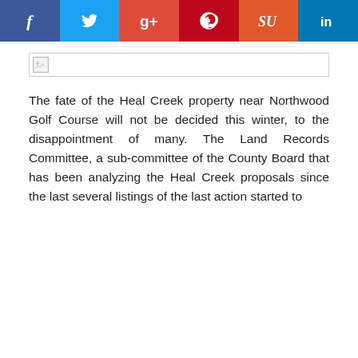[Figure (other): Social media sharing buttons: Facebook (blue), Twitter (light blue), Google+ (red-orange), Pinterest (dark red), StumbleUpon (orange), LinkedIn (blue)]
[Figure (other): Broken image placeholder — a rectangular box with a small broken image icon in the top-left corner]
The fate of the Heal Creek property near Northwood Golf Course will not be decided this winter, to the disappointment of many. The Land Records Committee, a sub-committee of the County Board that has been analyzing the Heal Creek proposals since the last several listings of the last action started to